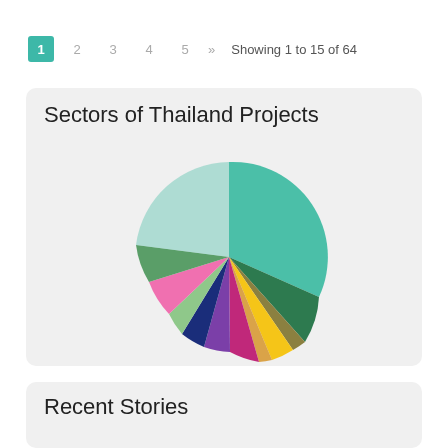1  2  3  4  5  »  Showing 1 to 15 of 64
[Figure (pie-chart): Sectors of Thailand Projects]
Recent Stories